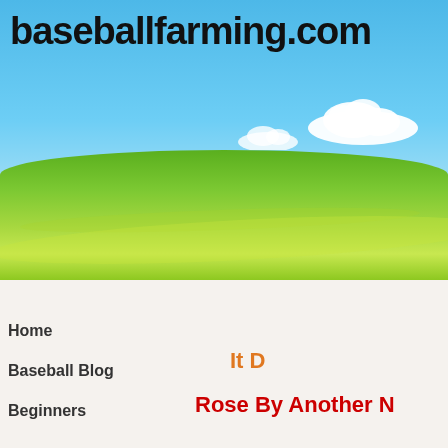[Figure (photo): Header banner with green rolling farmland field under a bright blue sky with white clouds]
baseballfarming.com
Home
Baseball Blog
Beginners
It D
Rose By Another N